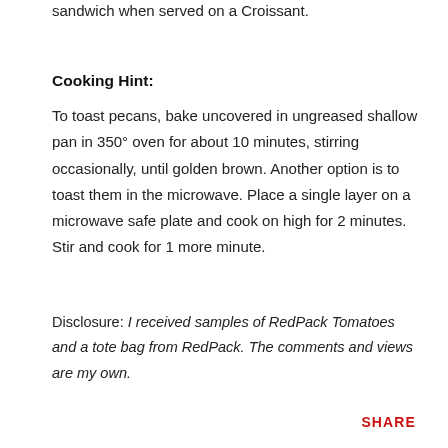sandwich when served on a Croissant.
Cooking Hint:
To toast pecans, bake uncovered in ungreased shallow pan in 350° oven for about 10 minutes, stirring occasionally, until golden brown.  Another option is to toast them in the microwave.  Place a single layer on a microwave safe plate and cook on high for 2 minutes.  Stir and cook for 1 more minute.
Disclosure: I received samples of RedPack Tomatoes and a tote bag from RedPack. The comments and views are my own.
SHARE